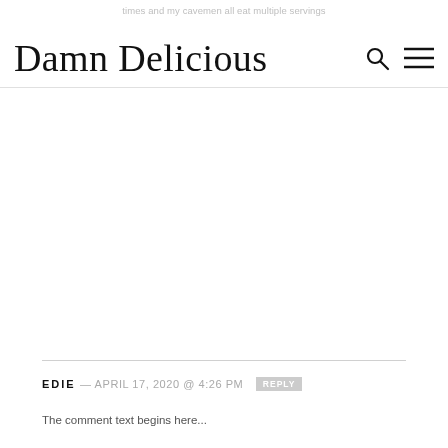times and my cavemen all eat multiple servings
Damn Delicious
EDIE — APRIL 17, 2020 @ 4:26 PM REPLY
The comment text beginning...